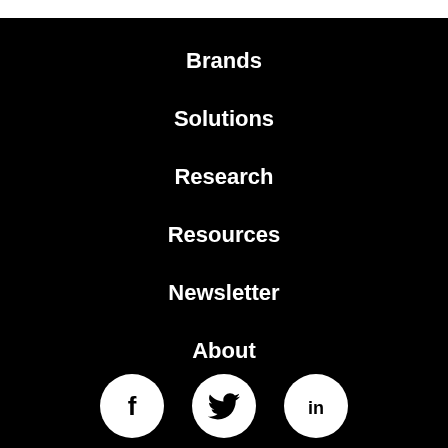Brands
Solutions
Research
Resources
Newsletter
About
[Figure (illustration): Three circular social media icons on black background: Facebook (f), Twitter (bird), LinkedIn (in)]